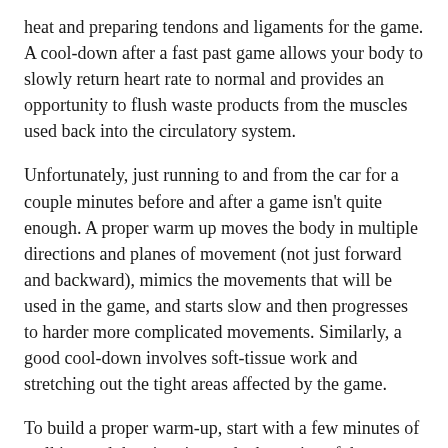heat and preparing tendons and ligaments for the game. A cool-down after a fast past game allows your body to slowly return heart rate to normal and provides an opportunity to flush waste products from the muscles used back into the circulatory system.
Unfortunately, just running to and from the car for a couple minutes before and after a game isn't quite enough. A proper warm up moves the body in multiple directions and planes of movement (not just forward and backward), mimics the movements that will be used in the game, and starts slow and then progresses to harder more complicated movements. Similarly, a good cool-down involves soft-tissue work and stretching out the tight areas affected by the game.
To build a proper warm-up, start with a few minutes of walking and then jogging and take notice of the areas that are tight and need a little more attention. Then, select 4-6 movements that incorporate forward and backward, side to side and twisting motions similar to those performed in a game. Perform them back to back with little rest in between to raise your heart rate and increase your flexibility. Then move on to more complex movement patterns which may include some of the more commonly known forward and back patterns with the ball.